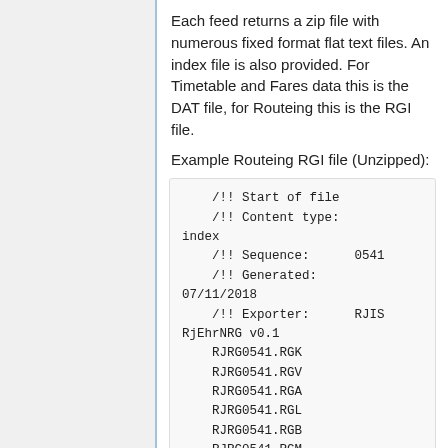Each feed returns a zip file with numerous fixed format flat text files. An index file is also provided. For Timetable and Fares data this is the DAT file, for Routeing this is the RGI file.
Example Routeing RGI file (Unzipped):
/!! Start of file
    /!! Content type: index
    /!! Sequence:      0541
    /!! Generated:     07/11/2018
    /!! Exporter:      RJIS RjEhrNRG v0.1
    RJRG0541.RGK
    RJRG0541.RGV
    RJRG0541.RGA
    RJRG0541.RGL
    RJRG0541.RGB
    RJRG0541.RGM
    RJRG0541.RGX
    RJRG0541.RGG